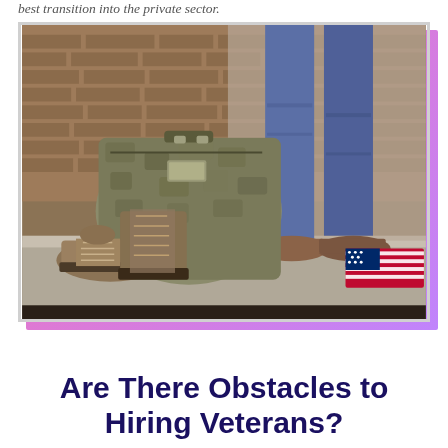best transition into the private sector.
[Figure (photo): Photo of a person standing in jeans and brown shoes next to military combat boots and a military duffel/rucksack bag, with an American flag partially visible on the ground, against a brick and concrete wall background.]
Are There Obstacles to Hiring Veterans?